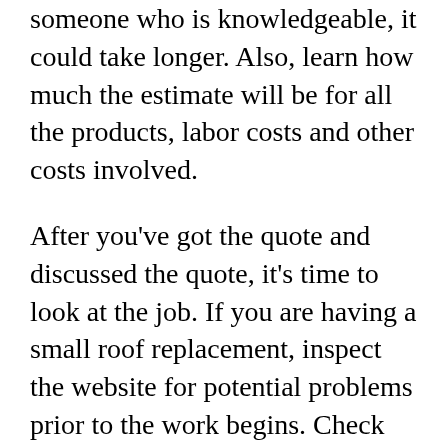someone who is knowledgeable, it could take longer. Also, learn how much the estimate will be for all the products, labor costs and other costs involved.
After you've got the quote and discussed the quote, it's time to look at the job. If you are having a small roof replacement, inspect the website for potential problems prior to the work begins. Check the roofing for any missing or broken shingles and search for any signs of water damage. Any fractures or signs of decay must be kept in mind and contacted the roofer right now. If you have a decaying roofing system, you might likewise wish to think about having